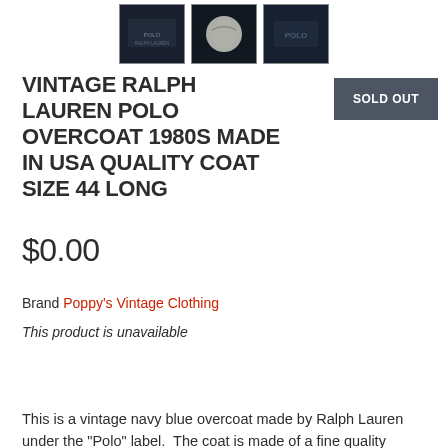[Figure (photo): Three thumbnail images of a navy blue vintage Polo Ralph Lauren overcoat, showing label, lining, and logo details]
VINTAGE RALPH LAUREN POLO OVERCOAT 1980S MADE IN USA QUALITY COAT SIZE 44 LONG
[Figure (other): SOLD OUT button in dark gray]
$0.00
Brand Poppy's Vintage Clothing
This product is unavailable
This is a vintage navy blue overcoat made by Ralph Lauren under the "Polo" label. The coat is made of a fine quality fabric. There is no